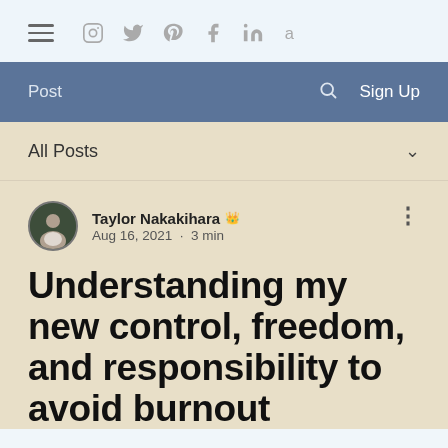≡ Instagram Twitter Pinterest Facebook LinkedIn Amazon
Post  🔍  Sign Up
All Posts
Taylor Nakakihara 👑
Aug 16, 2021 · 3 min
Understanding my new control, freedom, and responsibility to avoid burnout